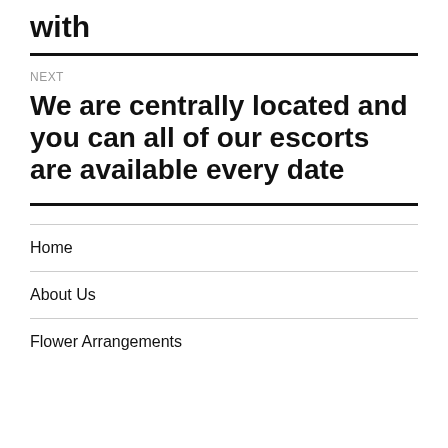with
NEXT
We are centrally located and you can all of our escorts are available every date
Home
About Us
Flower Arrangements